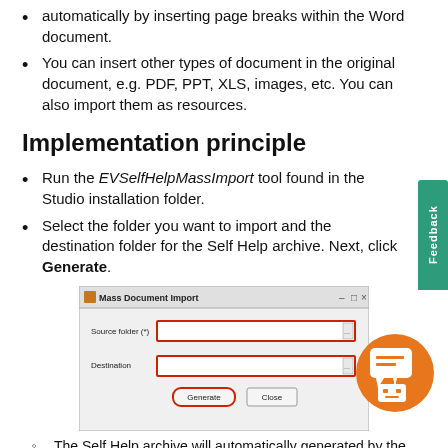automatically by inserting page breaks within the Word document.
You can insert other types of document in the original document, e.g. PDF, PPT, XLS, images, etc. You can also import them as resources.
Implementation principle
Run the EVSelfHelpMassImport tool found in the Studio installation folder.
Select the folder you want to import and the destination folder for the Self Help archive. Next, click Generate.
[Figure (screenshot): Mass Document Import dialog window with Source folder and Destination fields highlighted in red, and Generate and Close buttons, Generate button highlighted in red.]
The Self Help archive will automatically generated by the tool in the destination folder.
A result sub-folder containing the Self Help